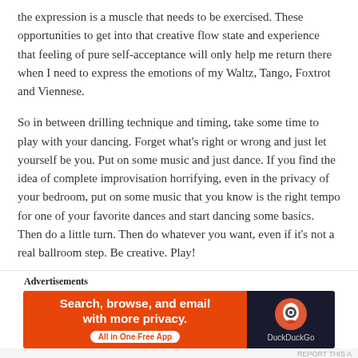the expression is a muscle that needs to be exercised. These opportunities to get into that creative flow state and experience that feeling of pure self-acceptance will only help me return there when I need to express the emotions of my Waltz, Tango, Foxtrot and Viennese.
So in between drilling technique and timing, take some time to play with your dancing. Forget what's right or wrong and just let yourself be you. Put on some music and just dance. If you find the idea of complete improvisation horrifying, even in the privacy of your bedroom, put on some music that you know is the right tempo for one of your favorite dances and start dancing some basics. Then do a little turn. Then do whatever you want, even if it's not a real ballroom step. Be creative. Play!
[Figure (other): DuckDuckGo advertisement banner: orange left panel with text 'Search, browse, and email with more privacy. All in One Free App' and dark right panel with DuckDuckGo logo and name.]